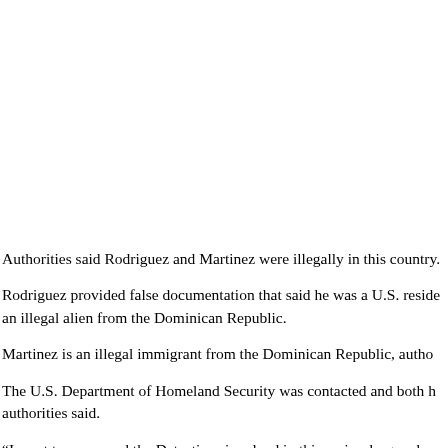Authorities said Rodriguez and Martinez were illegally in this country.
Rodriguez provided false documentation that said he was a U.S. resident, but he was actually an illegal alien from the Dominican Republic.
Martinez is an illegal immigrant from the Dominican Republic, authorities said.
The U.S. Department of Homeland Security was contacted and both had immigration holds placed, authorities said.
“I want to commend the Detectives involved in this major drug and w…